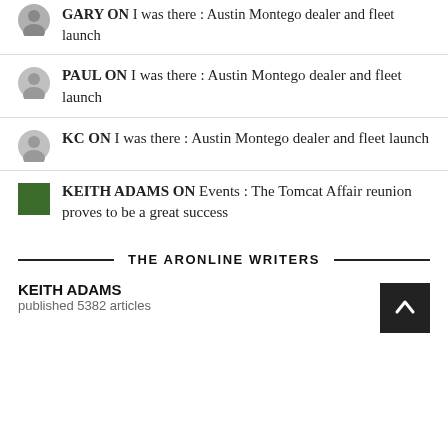GARY ON I was there : Austin Montego dealer and fleet launch
PAUL ON I was there : Austin Montego dealer and fleet launch
KC ON I was there : Austin Montego dealer and fleet launch
KEITH ADAMS ON Events : The Tomcat Affair reunion proves to be a great success
THE ARONLINE WRITERS
KEITH ADAMS
published 5382 articles